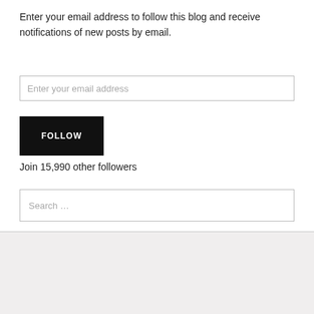Enter your email address to follow this blog and receive notifications of new posts by email.
Enter your email address
FOLLOW
Join 15,990 other followers
Search …
- SOCIAL -
[Figure (illustration): Social media icons: Facebook, Twitter, Instagram]